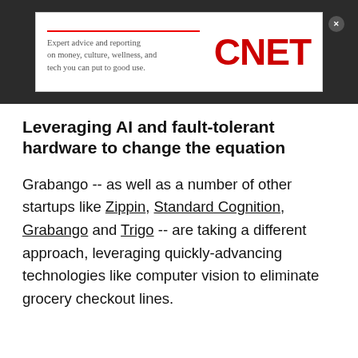[Figure (logo): CNET advertisement banner with tagline 'Expert advice and reporting on money, culture, wellness, and tech you can put to good use.' and CNET logo in red on white background, set against dark background.]
Leveraging AI and fault-tolerant hardware to change the equation
Grabango -- as well as a number of other startups like Zippin, Standard Cognition, Grabango and Trigo -- are taking a different approach, leveraging quickly-advancing technologies like computer vision to eliminate grocery checkout lines.